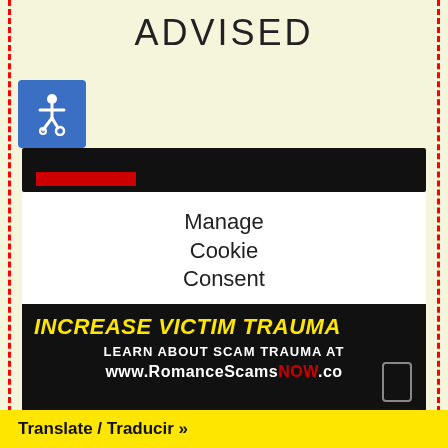ADVISED
[Figure (logo): Blue accessibility wheelchair icon on blue square background]
[Figure (screenshot): Website header bar with black background and red element]
Manage Cookie Consent
We use cookies to optimize our website and our service.
Accept
Cookie Policy
[Figure (screenshot): Advertisement banner: INCREASE VICTIM TRAUMA - LEARN ABOUT SCAM TRAUMA AT www.RomanceScamsNOW.co]
Translate / Traducir »